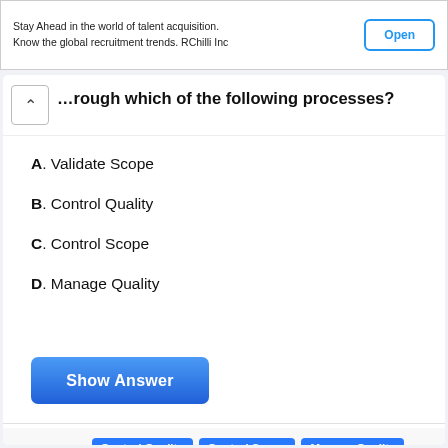[Figure (screenshot): Ad banner: 'Stay Ahead in the world of talent acquisition. Know the global recruitment trends. RChilli Inc' with an 'Open' button]
...hrough which of the following processes?
A. Validate Scope
B. Control Quality
C. Control Scope
D. Manage Quality
[Figure (screenshot): Blue 'Show Answer' button]
Tagged with  Control Quality  Control Scope  Manage Quality  Project Integration Management  Validate Scope